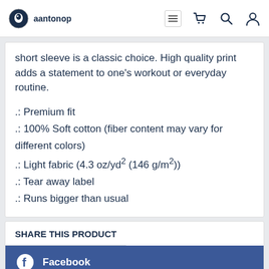aantonop
short sleeve is a classic choice. High quality print adds a statement to one's workout or everyday routine.
.: Premium fit
.: 100% Soft cotton (fiber content may vary for different colors)
.: Light fabric (4.3 oz/yd² (146 g/m²))
.: Tear away label
.: Runs bigger than usual
SHARE THIS PRODUCT
Facebook